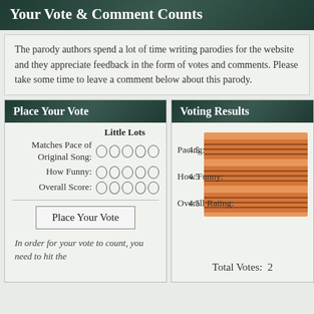Your Vote & Comment Counts
The parody authors spend a lot of time writing parodies for the website and they appreciate feedback in the form of votes and comments. Please take some time to leave a comment below about this parody.
Place Your Vote
Voting Results
[Figure (bar-chart): Voting Results]
Total Votes: 2
In order for your vote to count, you need to hit the